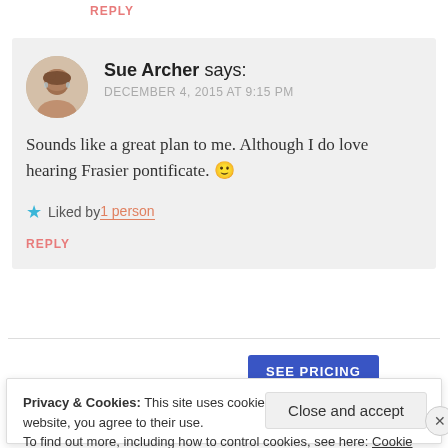REPLY
Sue Archer says: DECEMBER 4, 2015 AT 9:15 PM
Sounds like a great plan to me. Although I do love hearing Frasier pontificate. 🙂
★ Liked by 1 person
REPLY
SEE PRICING
Privacy & Cookies: This site uses cookies. By continuing to use this website, you agree to their use.
To find out more, including how to control cookies, see here: Cookie Policy
Close and accept